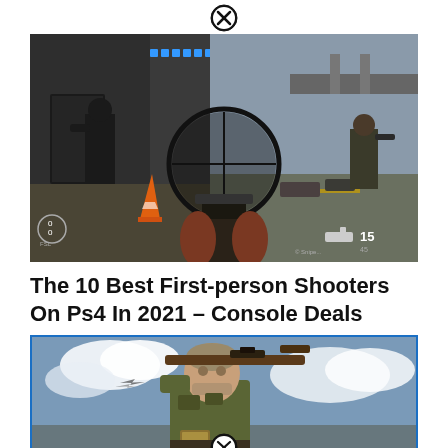[Figure (screenshot): Close button icon (X in circle) at the top center of an ad overlay]
[Figure (screenshot): Screenshot of a first-person shooter game on PS4 showing a soldier aiming down sights in an urban environment, with HUD elements visible]
The 10 Best First-person Shooters On Ps4 In 2021 – Console Deals
[Figure (photo): Promotional image of a soldier/sniper character holding a rifle over his shoulder against a cloudy sky background, with a close button overlay at the bottom center]